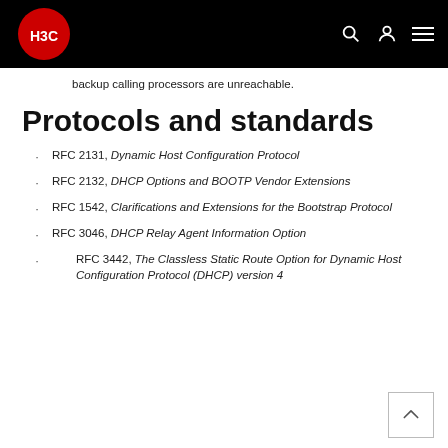H3C
backup calling processors are unreachable.
Protocols and standards
RFC 2131, Dynamic Host Configuration Protocol
RFC 2132, DHCP Options and BOOTP Vendor Extensions
RFC 1542, Clarifications and Extensions for the Bootstrap Protocol
RFC 3046, DHCP Relay Agent Information Option
RFC 3442, The Classless Static Route Option for Dynamic Host Configuration Protocol (DHCP) version 4